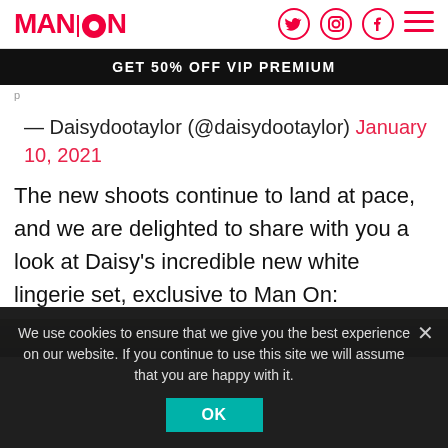MAN|ON — navigation header with logo and social icons
GET 50% OFF VIP PREMIUM
— Daisydootaylor (@daisydootaylor) January 10, 2021
The new shoots continue to land at pace, and we are delighted to share with you a look at Daisy's incredible new white lingerie set, exclusive to Man On:
[Figure (photo): Partial photo strip showing top of a person's head]
We use cookies to ensure that we give you the best experience on our website. If you continue to use this site we will assume that you are happy with it.